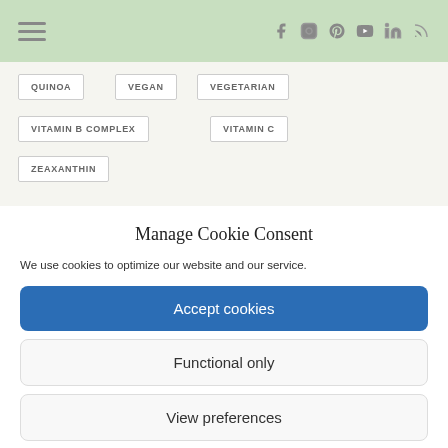Navigation bar with hamburger menu and social icons (Facebook, Instagram, Pinterest, YouTube, LinkedIn, RSS)
QUINOA
VEGAN
VEGETARIAN
VITAMIN B COMPLEX
VITAMIN C
ZEAXANTHIN
Manage Cookie Consent
We use cookies to optimize our website and our service.
Accept cookies
Functional only
View preferences